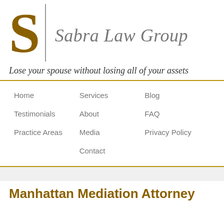[Figure (logo): Sabra Law Group logo with large decorative S letter in dark gold/brown, vertical divider line, and firm name in italic gray serif font]
Lose your spouse without losing all of your assets
Home
Services
Blog
Testimonials
About
FAQ
Practice Areas
Media
Privacy Policy
Contact
Manhattan Mediation Attorney